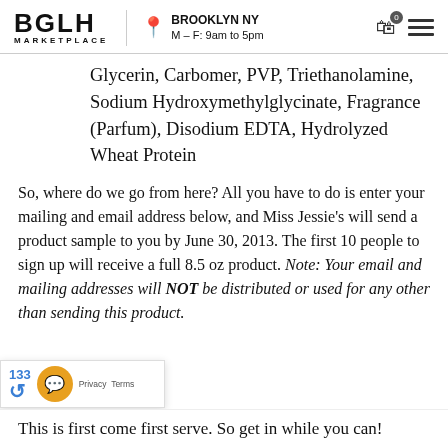BGLH MARKETPLACE | BROOKLYN NY M–F: 9am to 5pm
Glycerin, Carbomer, PVP, Triethanolamine, Sodium Hydroxymethylglycinate, Fragrance (Parfum), Disodium EDTA, Hydrolyzed Wheat Protein
So, where do we go from here? All you have to do is enter your mailing and email address below, and Miss Jessie's will send a product sample to you by June 30, 2013. The first 10 people to sign up will receive a full 8.5 oz product. Note: Your email and mailing addresses will NOT be distributed or used for any other than sending this product.
This is first come first serve. So get in while you can!